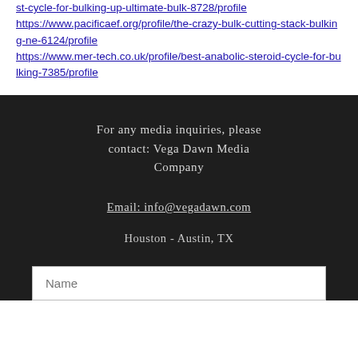st-cycle-for-bulking-up-ultimate-bulk-8728/profile https://www.pacificaef.org/profile/the-crazy-bulk-cutting-stack-bulking-ne-6124/profile https://www.mer-tech.co.uk/profile/best-anabolic-steroid-cycle-for-bulking-7385/profile
For any media inquiries, please contact: Vega Dawn Media Company
Email: info@vegadawn.com
Houston - Austin, TX
Name